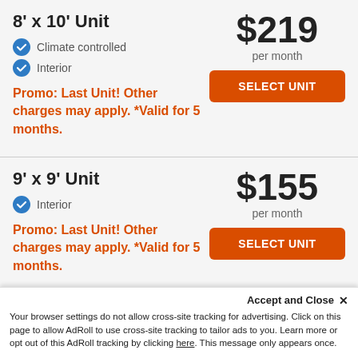8' x 10' Unit
Climate controlled
Interior
Promo: Last Unit! Other charges may apply. *Valid for 5 months.
$219 per month
9' x 9' Unit
Interior
Promo: Last Unit! Other charges may apply. *Valid for 5 months.
$155 per month
10' x 9' Unit
$155
Accept and Close ✕ Your browser settings do not allow cross-site tracking for advertising. Click on this page to allow AdRoll to use cross-site tracking to tailor ads to you. Learn more or opt out of this AdRoll tracking by clicking here. This message only appears once.